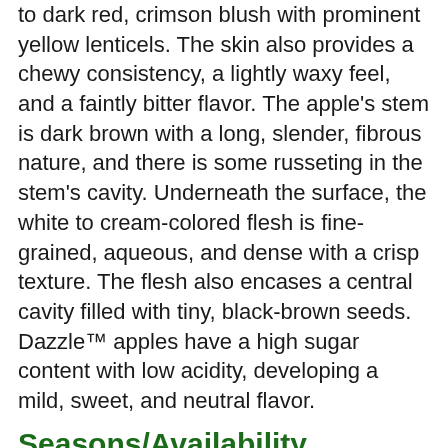to dark red, crimson blush with prominent yellow lenticels. The skin also provides a chewy consistency, a lightly waxy feel, and a faintly bitter flavor. The apple's stem is dark brown with a long, slender, fibrous nature, and there is some russeting in the stem's cavity. Underneath the surface, the white to cream-colored flesh is fine-grained, aqueous, and dense with a crisp texture. The flesh also encases a central cavity filled with tiny, black-brown seeds. Dazzle™ apples have a high sugar content with low acidity, developing a mild, sweet, and neutral flavor.
Seasons/Availability
Dazzle™ apples are available in the summer, typically from March to August.
Current Facts
Dazzle™ apples, botanically classified as Malus domestica, are a modern New Zealand apple variety belonging to the Rosaceae family. The